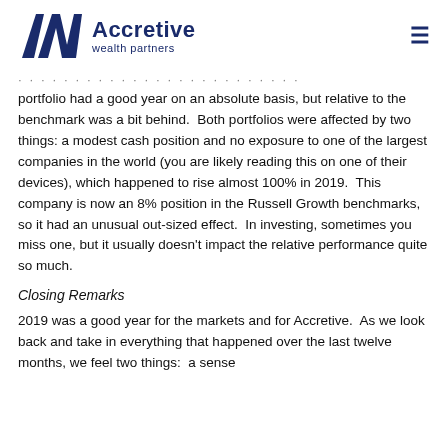Accretive wealth partners
portfolio had a good year on an absolute basis, but relative to the benchmark was a bit behind. Both portfolios were affected by two things: a modest cash position and no exposure to one of the largest companies in the world (you are likely reading this on one of their devices), which happened to rise almost 100% in 2019. This company is now an 8% position in the Russell Growth benchmarks, so it had an unusual out-sized effect. In investing, sometimes you miss one, but it usually doesn't impact the relative performance quite so much.
Closing Remarks
2019 was a good year for the markets and for Accretive. As we look back and take in everything that happened over the last twelve months, we feel two things: a sense